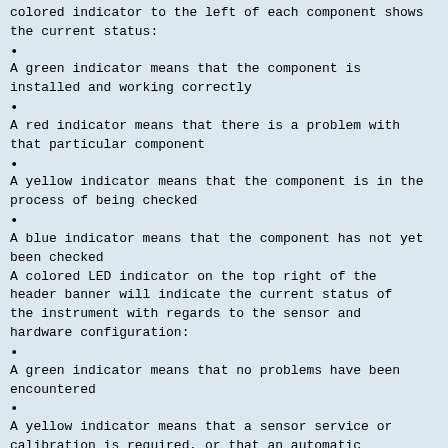colored indicator to the left of each component shows the current status:
A green indicator means that the component is installed and working correctly
A red indicator means that there is a problem with that particular component
A yellow indicator means that the component is in the process of being checked
A blue indicator means that the component has not yet been checked
A colored LED indicator on the top right of the header banner will indicate the current status of the instrument with regards to the sensor and hardware configuration:
A green indicator means that no problems have been encountered
A yellow indicator means that a sensor service or calibration is required, or that an automatic planned task (e.g. sensor calibration or verification) is required and which will be activated the next time the instrument is in standby mode
A red indicator means that there is a problem with the sensor or hardware configuration, or that the instrument is not ready (e.g. oxygen level is too high)